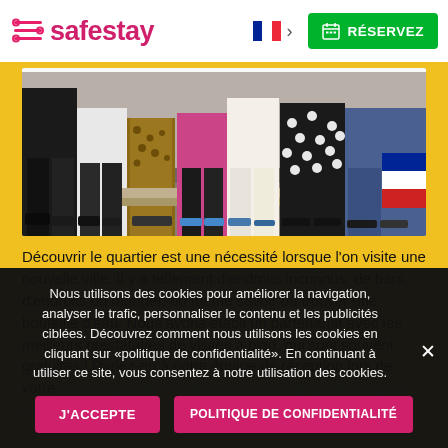safestay | RÉSERVEZ
[Figure (photo): Photo of a group of people standing together, showing their legs and feet from approximately knee height down, wearing various colorful clothing including polka-dot pants, jeans, and casual shoes.]
Découvrir le quartier est une nécessité lorsque l'on visite une nouvelle ville. Il y a tellement d'endroits inconnus, de bars, d'endroits où manger, ou même savoir où trouver une bouteille d'eau. Nous avons établi un partenariat avec les meilleurs prestataires de visites à pied, qui sont souvent gratuites ! Parlez-en à notre équipe de réception lors de votre
Nous utilisons des cookies pour améliorer la navigation, analyser le trafic, personnaliser le contenu et les publicités ciblées. Découvrez comment nous utilisons les cookies en cliquant sur «politique de confidentialité». En continuant à utiliser ce site, vous consentez à notre utilisation des cookies.
J'ACCEPTE
POLITIQUE DE CONFIDENTIALITÉ